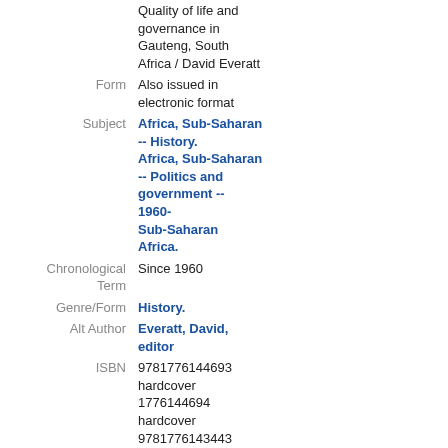Quality of life and governance in Gauteng, South Africa / David Everatt
Form: Also issued in electronic format
Subject: Africa, Sub-Saharan -- History. Africa, Sub-Saharan -- Politics and government -- 1960- Sub-Saharan Africa.
Chronological Term: Since 1960
Genre/Form: History.
Alt Author: Everatt, David, editor
ISBN: 9781776144693 hardcover 1776144694 hardcover 9781776143443 paperback 1776143442 paperback
---------------------------------------------------